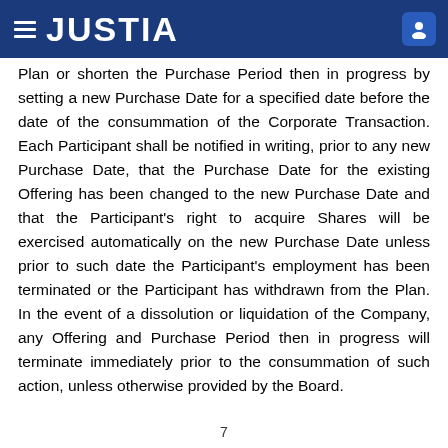JUSTIA
Plan or shorten the Purchase Period then in progress by setting a new Purchase Date for a specified date before the date of the consummation of the Corporate Transaction. Each Participant shall be notified in writing, prior to any new Purchase Date, that the Purchase Date for the existing Offering has been changed to the new Purchase Date and that the Participant's right to acquire Shares will be exercised automatically on the new Purchase Date unless prior to such date the Participant's employment has been terminated or the Participant has withdrawn from the Plan. In the event of a dissolution or liquidation of the Company, any Offering and Purchase Period then in progress will terminate immediately prior to the consummation of such action, unless otherwise provided by the Board.
7